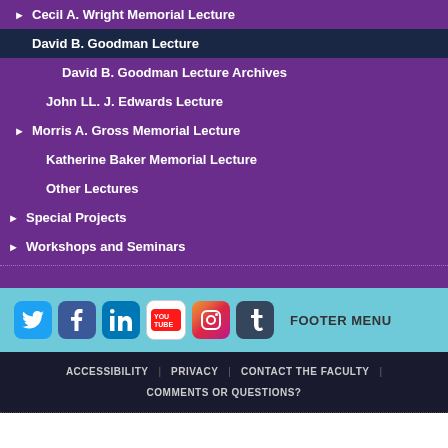Cecil A. Wright Memorial Lecture
David B. Goodman Lecture
David B. Goodman Lecture Archives
John LL. J. Edwards Lecture
Morris A. Gross Memorial Lecture
Katherine Baker Memorial Lecture
Other Lectures
Special Projects
Workshops and Seminars
FOOTER MENU  ACCESSIBILITY  PRIVACY  CONTACT THE FACULTY  COMMENTS OR QUESTIONS?